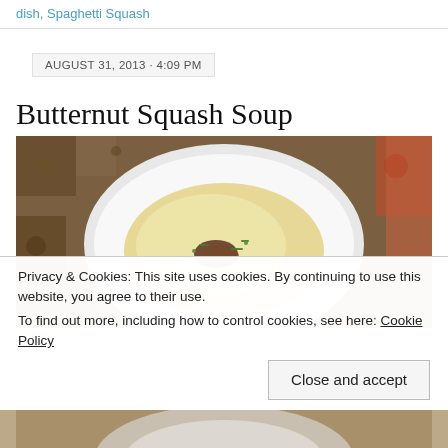dish, Spaghetti Squash
AUGUST 31, 2013 · 4:09 PM
Butternut Squash Soup
[Figure (photo): Overhead photo of a white bowl of creamy butternut squash soup garnished with crispy bacon and green chives, on a decorative patterned tablecloth with a red napkin in the corner.]
Privacy & Cookies: This site uses cookies. By continuing to use this website, you agree to their use.
To find out more, including how to control cookies, see here: Cookie Policy
Close and accept